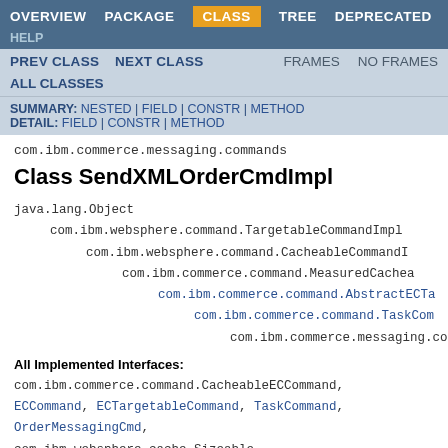OVERVIEW  PACKAGE  CLASS  TREE  DEPRECATED  INDEX  HELP
PREV CLASS  NEXT CLASS  FRAMES  NO FRAMES  ALL CLASSES
SUMMARY: NESTED | FIELD | CONSTR | METHOD  DETAIL: FIELD | CONSTR | METHOD
com.ibm.commerce.messaging.commands
Class SendXMLOrderCmdImpl
java.lang.Object
    com.ibm.websphere.command.TargetableCommandImpl
        com.ibm.websphere.command.CacheableCommandImpl
            com.ibm.commerce.command.MeasuredCachea...
                com.ibm.commerce.command.AbstractECTa...
                    com.ibm.commerce.command.TaskCom...
                        com.ibm.commerce.messaging.com...
All Implemented Interfaces:
com.ibm.commerce.command.CacheableECCommand, ECCommand, ECTargetableCommand, TaskCommand, OrderMessagingCmd,
com.ibm.websphere.cache.Sizeable,
com.ibm.websphere.command.CacheableCommand